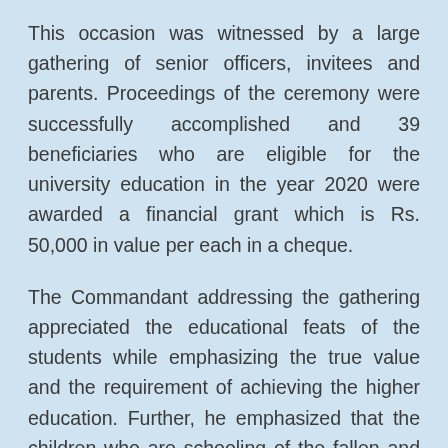This occasion was witnessed by a large gathering of senior officers, invitees and parents. Proceedings of the ceremony were successfully accomplished and 39 beneficiaries who are eligible for the university education in the year 2020 were awarded a financial grant which is Rs. 50,000 in value per each in a cheque.
The Commandant addressing the gathering appreciated the educational feats of the students while emphasizing the true value and the requirement of achieving the higher education. Further, he emphasized that the children who are schooling of the fallen and serving members of the Volunteer Force including the civil staff are entitled to receive financial grants and the establishment willingly hands in upgradation of their education.